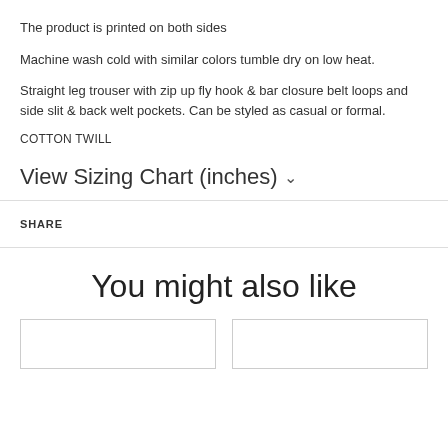The product is printed on both sides
Machine wash cold with similar colors tumble dry on low heat.
Straight leg trouser with zip up fly hook & bar closure belt loops and side slit & back welt pockets. Can be styled as casual or formal.
COTTON TWILL
View Sizing Chart (inches) ˅
SHARE
You might also like